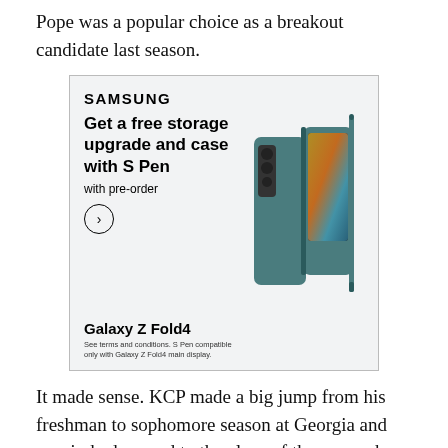Pope was a popular choice as a breakout candidate last season.
[Figure (other): Samsung Galaxy Z Fold4 advertisement. Text: SAMSUNG. Get a free storage upgrade and case with S Pen with pre-order. Arrow button. Galaxy Z Fold4. See terms and conditions. S Pen compatible only with Galaxy Z Fold4 main display. Shows image of Galaxy Z Fold4 phone and S Pen.]
It made sense. KCP made a big jump from his freshman to sophomore season at Georgia and was jerked around to the close of the season by coaches Maurice Cheeks and John Loyer. Despite gaining the